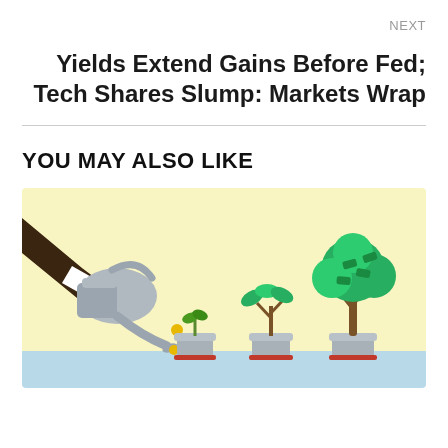NEXT
Yields Extend Gains Before Fed; Tech Shares Slump: Markets Wrap
YOU MAY ALSO LIKE
[Figure (illustration): Illustration showing a hand with a watering can pouring coins onto four potted plants in progressive stages of growth: a seedling, a small plant with money leaves, a medium money tree, and a large full money tree, on a light yellow background with a light blue ground strip.]